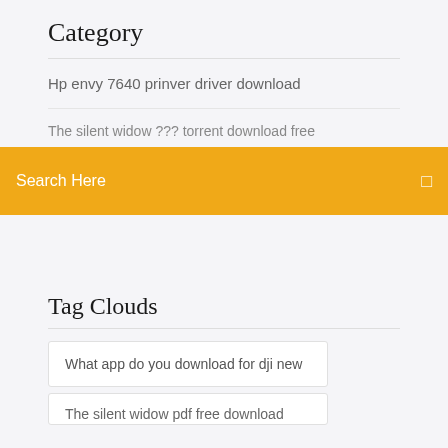Category
Hp envy 7640 prinver driver download
The silent widow ??? torrent download free
[Figure (screenshot): Orange/amber search bar with 'Search Here' text in white and a search icon on the right]
Tag Clouds
What app do you download for dji new
The silent widow pdf free download